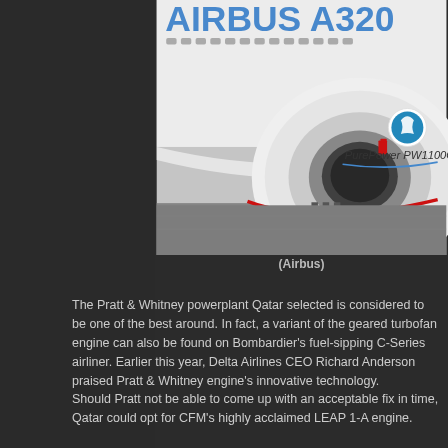[Figure (photo): Close-up photograph of an Airbus A320 aircraft on the tarmac showing a Pratt & Whitney PurePower PW1100G-JM engine with landing gear visible. The fuselage shows 'AIRBUS A320' in blue lettering.]
(Airbus)
The Pratt & Whitney powerplant Qatar selected is considered to be one of the best around. In fact, a variant of the geared turbofan engine can also be found on Bombardier's fuel-sipping C-Series airliner. Earlier this year, Delta Airlines CEO Richard Anderson praised Pratt & Whitney engine's innovative technology.
Should Pratt not be able to come up with an acceptable fix in time, Qatar could opt for CFM's highly acclaimed LEAP 1-A engine.